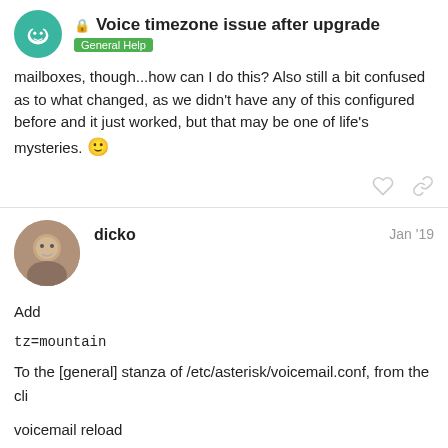Voice timezone issue after upgrade — General Help
mailboxes, though...how can I do this? Also still a bit confused as to what changed, as we didn't have any of this configured before and it just worked, but that may be one of life's mysteries. 🙂
dicko — Jan '19
Add
tz=mountain
To the [general] stanza of /etc/asterisk/voicemail.conf, from the cli
voicemail reload